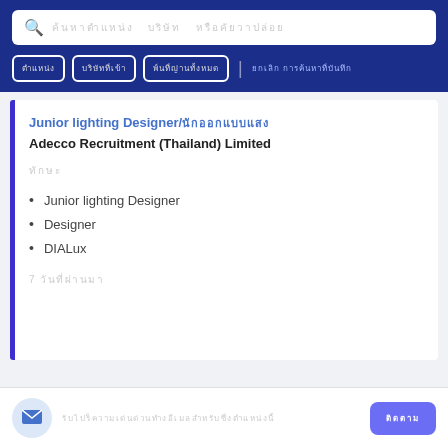Search bar with Thai placeholder text
Filter buttons: Thai text filters and link
Junior lighting Designer/นักออกแบบแสงสว่าง
Adecco Recruitment (Thailand) Limited
Thai section label
Junior lighting Designer
Designer
DIALux
7 Thai time ago text
Mail icon with Thai subscription text and subscribe button